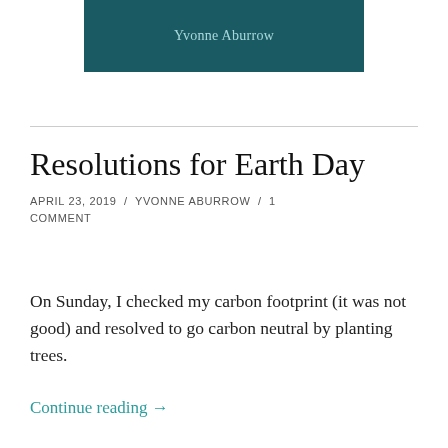[Figure (illustration): Book cover image with dark teal background and author name 'Yvonne Aburrow' in teal/light text]
Resolutions for Earth Day
APRIL 23, 2019 / YVONNE ABURROW / 1 COMMENT
On Sunday, I checked my carbon footprint (it was not good) and resolved to go carbon neutral by planting trees.
Continue reading →